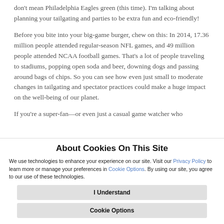don't mean Philadelphia Eagles green (this time). I'm talking about planning your tailgating and parties to be extra fun and eco-friendly!
Before you bite into your big-game burger, chew on this: In 2014, 17.36 million people attended regular-season NFL games, and 49 million people attended NCAA football games. That's a lot of people traveling to stadiums, popping open soda and beer, downing dogs and passing around bags of chips. So you can see how even just small to moderate changes in tailgating and spectator practices could make a huge impact on the well-being of our planet.
If you're a super-fan—or even just a casual game watcher who
About Cookies On This Site
We use technologies to enhance your experience on our site. Visit our Privacy Policy to learn more or manage your preferences in Cookie Options. By using our site, you agree to our use of these technologies.
I Understand
Cookie Options